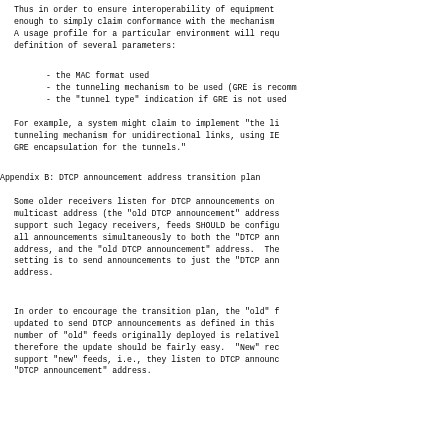Thus in order to ensure interoperability of equipment
enough to simply claim conformance with the mechanism
A usage profile for a particular environment will requ
definition of several parameters:
- the MAC format used
- the tunneling mechanism to be used (GRE is recomm
- the "tunnel type" indication if GRE is not used
For example, a system might claim to implement "the li
tunneling mechanism for unidirectional links, using IE
GRE encapsulation for the tunnels."
Appendix B: DTCP announcement address transition plan
Some older receivers listen for DTCP announcements on
multicast address (the "old DTCP announcement" address
support such legacy receivers, feeds SHOULD be configu
all announcements simultaneously to both the "DTCP ann
address, and the "old DTCP announcement" address.  The
setting is to send announcements to just the "DTCP ann
address.
In order to encourage the transition plan, the "old" f
updated to send DTCP announcements as defined in this
number of "old" feeds originally deployed is relativel
therefore the update should be fairly easy.  "New" rec
support "new" feeds, i.e., they listen to DTCP announc
"DTCP announcement" address.